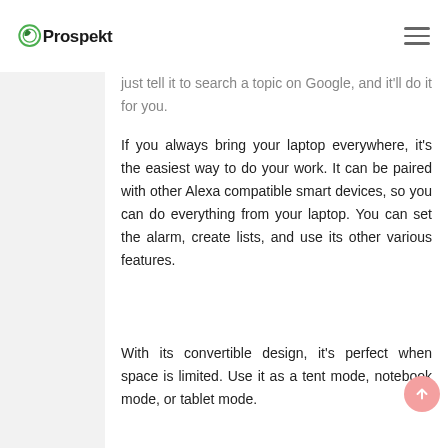Prospekt
...just tell it to search a topic on Google, and it'll do it for you.
If you always bring your laptop everywhere, it's the easiest way to do your work. It can be paired with other Alexa compatible smart devices, so you can do everything from your laptop. You can set the alarm, create lists, and use its other various features.
With its convertible design, it's perfect when space is limited. Use it as a tent mode, notebook mode, or tablet mode.
7.  Kwikset obsidian